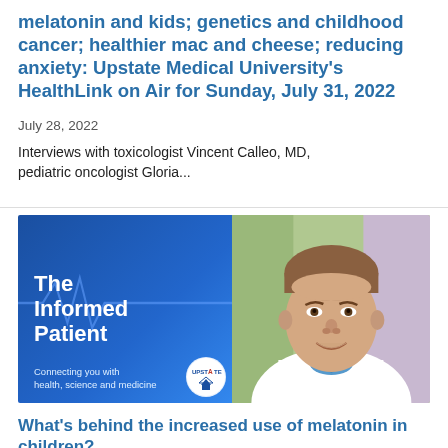melatonin and kids; genetics and childhood cancer; healthier mac and cheese; reducing anxiety: Upstate Medical University's HealthLink on Air for Sunday, July 31, 2022
July 28, 2022
Interviews with toxicologist Vincent Calleo, MD, pediatric oncologist Gloria...
[Figure (photo): Composite image: left half shows a blue background with heartbeat/ECG line graphic and text 'The Informed Patient — Connecting you with health, science and medicine' with Upstate logo; right half shows a photo of a male doctor in a white coat smiling, with a green/purple background.]
What's behind the increased use of melatonin in children?